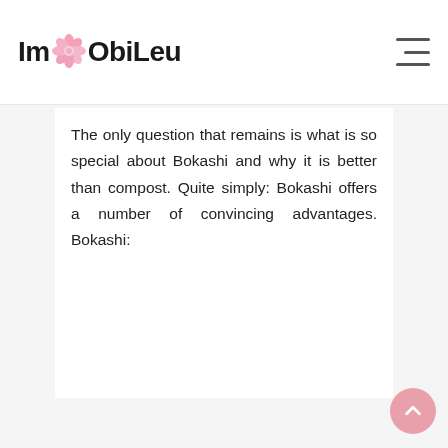ImObiLeu
The only question that remains is what is so special about Bokashi and why it is better than compost. Quite simply: Bokashi offers a number of convincing advantages. Bokashi: